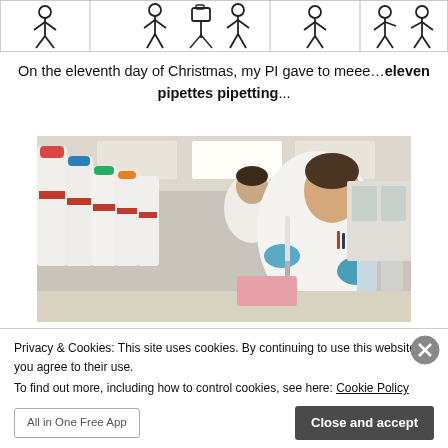[Figure (illustration): Strip of stick figures in bordered cells at the top of the page, showing people in various poses]
On the eleventh day of Christmas, my PI gave to meee…eleven pipettes pipetting...
[Figure (photo): Laboratory photo showing two scientists in white lab coats and blue gloves working with pipettes among rows of white bottles with red labels]
Privacy & Cookies: This site uses cookies. By continuing to use this website, you agree to their use.
To find out more, including how to control cookies, see here: Cookie Policy